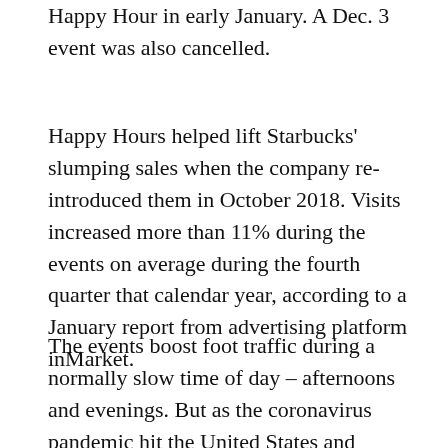Happy Hour in early January. A Dec. 3 event was also cancelled.
Happy Hours helped lift Starbucks' slumping sales when the company re-introduced them in October 2018. Visits increased more than 11% during the events on average during the fourth quarter that calendar year, according to a January report from advertising platform inMarket.
The events boost foot traffic during a normally slow time of day – afternoons and evenings. But as the coronavirus pandemic hit the United States and Canada this year, Happy Hours in those markets also